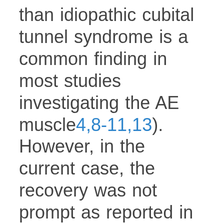than idiopathic cubital tunnel syndrome is a common finding in most studies investigating the AE muscle4,8-11,13). However, in the current case, the recovery was not prompt as reported in prior cases. The first sign of improvement was not observed until two months postoperatively. Based on our single case